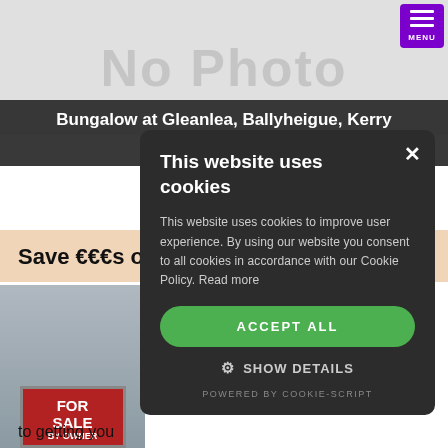[Figure (photo): No Photo placeholder image for property listing]
Bungalow at Gleanlea, Ballyheigue, Kerry — 3 bedrooms, 2 bathrooms, garden, parking
Save €€€s on Agents Fees ... Now
[Figure (photo): Woman holding a For Sale By Owner sign]
to getting you
It only takes only a jiffy to get your ad on here ...
This website uses cookies

This website uses cookies to improve user experience. By using our website you consent to all cookies in accordance with our Cookie Policy. Read more

ACCEPT ALL

SHOW DETAILS

POWERED BY COOKIE-SCRIPT